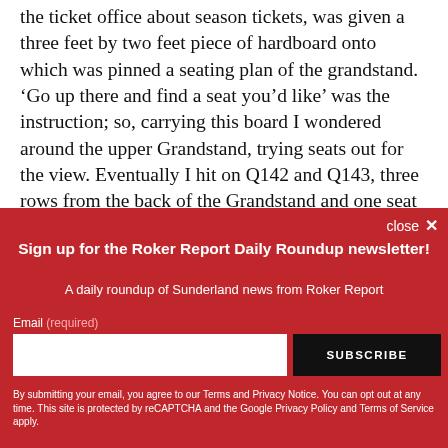the ticket office about season tickets, was given a three feet by two feet piece of hardboard onto which was pinned a seating plan of the grandstand. ‘Go up there and find a seat you’d like’ was the instruction; so, carrying this board I wondered around the upper Grandstand, trying seats out for the view. Eventually I hit on Q142 and Q143, three rows from the back of the Grandstand and one seat in from the aisle.
close ×
Sign up for the Roker Report Daily Roundup newsletter!
A daily roundup of Sunderland news from Roker Report
Email (required)
SUBSCRIBE
By submitting your email, you agree to our Terms and Privacy Notice. You can opt out at any time. This site is protected by reCAPTCHA and the Google Privacy Policy and Terms of Service apply.